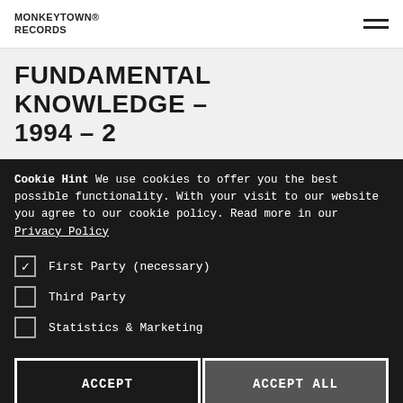MONKEYTOWN RECORDS
FUNDAMENTAL KNOWLEDGE – 1994 – 2
Cookie Hint We use cookies to offer you the best possible functionality. With your visit to our website you agree to our cookie policy. Read more in our Privacy Policy
First Party (necessary)
Third Party
Statistics & Marketing
ACCEPT
ACCEPT ALL